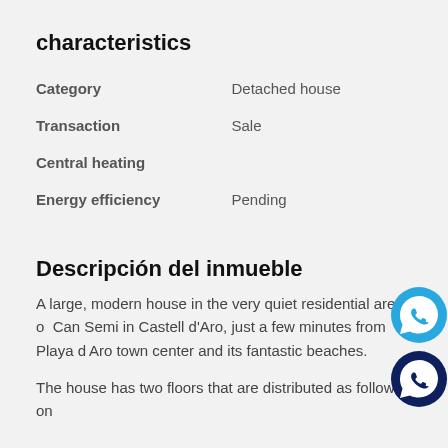characteristics
| Property | Value |
| --- | --- |
| Category | Detached house |
| Transaction | Sale |
| Central heating |  |
| Energy efficiency | Pending |
Descripción del inmueble
A large, modern house in the very quiet residential area of Can Semi in Castell d'Aro, just a few minutes from Playa d'Aro town center and its fantastic beaches.
The house has two floors that are distributed as follows: on